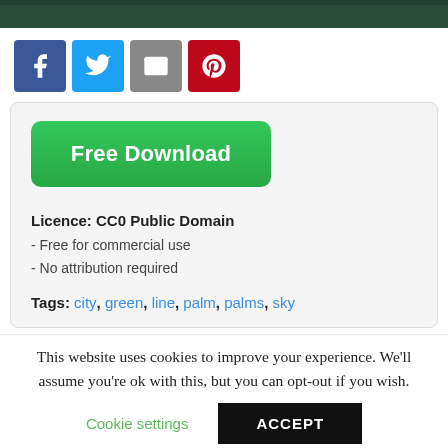[Figure (photo): Dark top image strip showing foliage/trees]
[Figure (infographic): Social sharing icons: Facebook, Twitter, Email, Pinterest]
[Figure (other): Green 'Free Download' button]
Licence: CC0 Public Domain
- Free for commercial use
- No attribution required
Tags: city, green, line, palm, palms, sky
This website uses cookies to improve your experience. We'll assume you're ok with this, but you can opt-out if you wish.
Cookie settings   ACCEPT